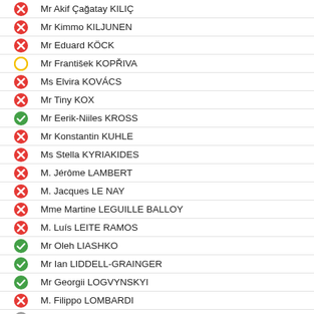Mr Akif Çağatay KILIÇ
Mr Kimmo KILJUNEN
Mr Eduard KÖCK
Mr František KOPŘIVA
Ms Elvira KOVÁCS
Mr Tiny KOX
Mr Eerik-Niiles KROSS
Mr Konstantin KUHLE
Ms Stella KYRIAKIDES
M. Jérôme LAMBERT
M. Jacques LE NAY
Mme Martine LEGUILLE BALLOY
M. Luís LEITE RAMOS
Mr Oleh LIASHKO
Mr Ian LIDDELL-GRAINGER
Mr Georgii LOGVYNSKYI
M. Filippo LOMBARDI
M. René LÓPEZ